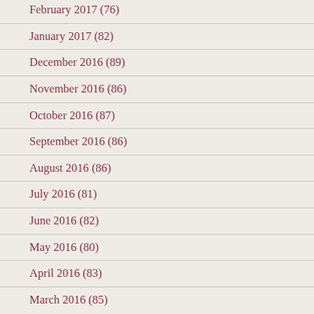February 2017 (76)
January 2017 (82)
December 2016 (89)
November 2016 (86)
October 2016 (87)
September 2016 (86)
August 2016 (86)
July 2016 (81)
June 2016 (82)
May 2016 (80)
April 2016 (83)
March 2016 (85)